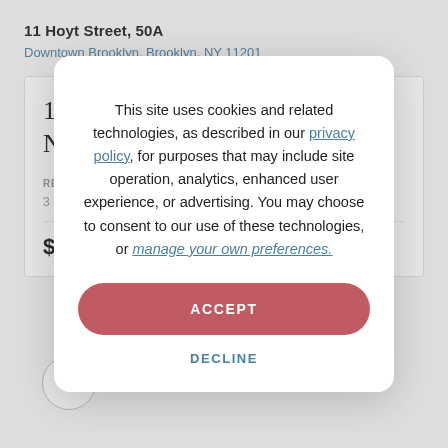11 Hoyt Street, 50A
Downtown Brooklyn, Brooklyn, NY 11201
11 Hoyt Street, 37F, Brooklyn, NY 11201
RESIDENTIAL
3 BD | 3 BA
$2,950,
This site uses cookies and related technologies, as described in our privacy policy, for purposes that may include site operation, analytics, enhanced user experience, or advertising. You may choose to consent to our use of these technologies, or manage your own preferences.
ACCEPT
DECLINE